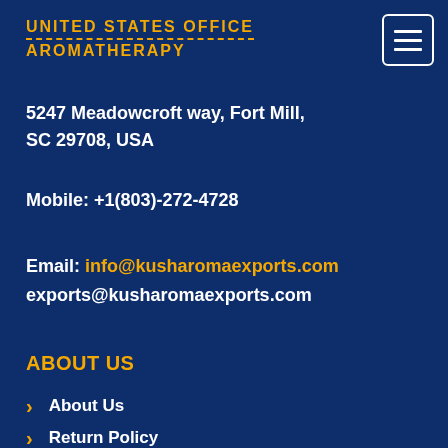UNITED STATES OFFICE
5247 Meadowcroft way, Fort Mill, SC 29708, USA
Mobile: +1(803)-272-4728
Email: info@kusharomaexports.com
exports@kusharomaexports.com
ABOUT US
About Us
Return Policy
Aromatherapy
Acceptable Policy
Cold Pressing